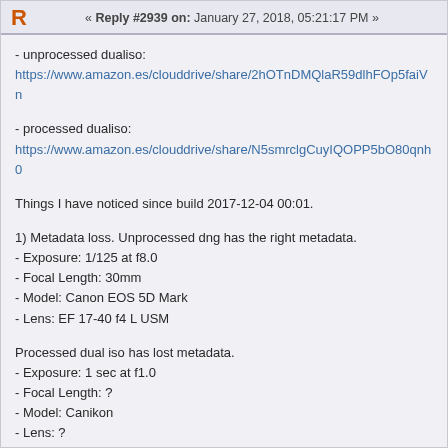R   « Reply #2939 on: January 27, 2018, 05:21:17 PM »
- unprocessed dualiso:
https://www.amazon.es/clouddrive/share/2hOTnDMQlaR59dlhFOp5faiVn
- processed dualiso:
https://www.amazon.es/clouddrive/share/N5smrclgCuyIQOPP5bO80qnh0
Things I have noticed since build 2017-12-04 00:01.
1) Metadata loss. Unprocessed dng has the right metadata.
- Exposure: 1/125 at f8.0
- Focal Length: 30mm
- Model: Canon EOS 5D Mark
- Lens: EF 17-40 f4 L USM
Processed dual iso has lost metadata.
- Exposure: 1 sec at f1.0
- Focal Length: ?
- Model: Canikon
- Lens: ?
So Lr warns that it's unable to locate a matching lens profile automatically.